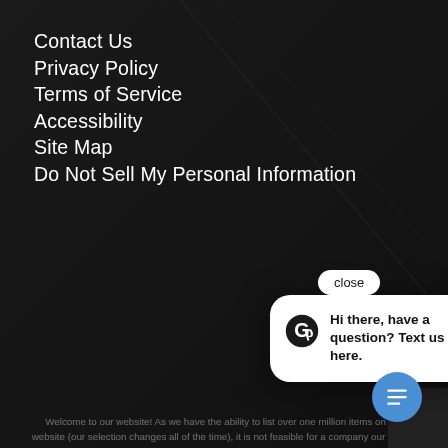Contact Us
Privacy Policy
Terms of Service
Accessibility
Site Map
Do Not Sell My Personal Information
Welcome to our website! As we have the ability to list over one million items on our website (our selection changes all of the time), it is not feasible for a company our size to record and playback the descriptions on every item on our website. However, if you have a disability we are here to help you. Please call our disability services phone line at 628-0670 during regular business hours and one of our kind and friendly personal shoppers will help you navigate through our website, help conduct advanced searches, help you choose the item you are looking for with the specifications you are seeking, read you the specifications of any item and consult with you about the products themselves. There is no charge for the help of this personal shopper for anyone with a disability. Finally, your personal shopper will explain our Privacy Policy and Terms of Service, and help you place an order if you so desire.
close
Hi there, have a question? Text us here.